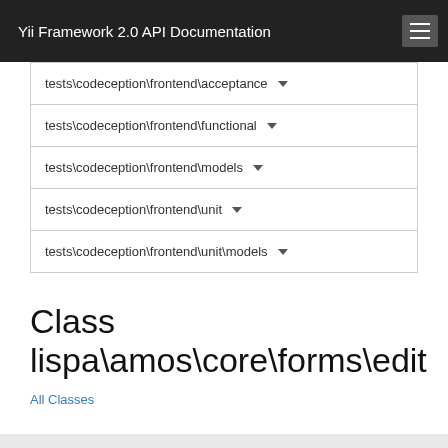Yii Framework 2.0 API Documentation
tests\codeception\frontend\acceptance
tests\codeception\frontend\functional
tests\codeception\frontend\models
tests\codeception\frontend\unit
tests\codeception\frontend\unit\models
Class lispa\amos\core\forms\edit
All Classes
| Inheritance | lispa\amos\core\forms\editors\AttachmentList |
| --- | --- |